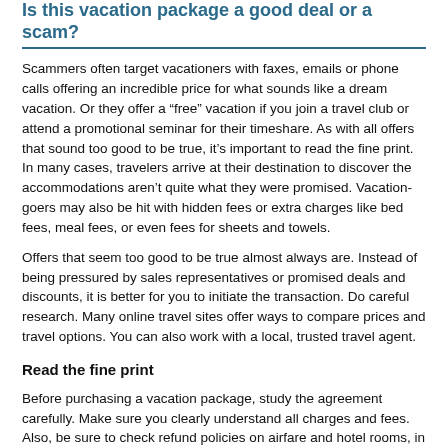Is this vacation package a good deal or a scam?
Scammers often target vacationers with faxes, emails or phone calls offering an incredible price for what sounds like a dream vacation. Or they offer a “free” vacation if you join a travel club or attend a promotional seminar for their timeshare. As with all offers that sound too good to be true, it’s important to read the fine print. In many cases, travelers arrive at their destination to discover the accommodations aren’t quite what they were promised. Vacation-goers may also be hit with hidden fees or extra charges like bed fees, meal fees, or even fees for sheets and towels.
Offers that seem too good to be true almost always are. Instead of being pressured by sales representatives or promised deals and discounts, it is better for you to initiate the transaction. Do careful research. Many online travel sites offer ways to compare prices and travel options. You can also work with a local, trusted travel agent.
Read the fine print
Before purchasing a vacation package, study the agreement carefully. Make sure you clearly understand all charges and fees. Also, be sure to check refund policies on airfare and hotel rooms, in case you have to cancel.
You should also consider using a credit card to pay for the purchase. In